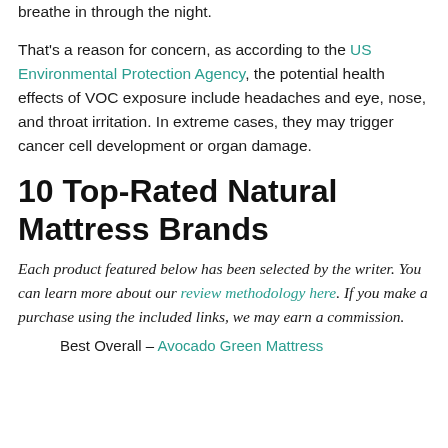breathe in through the night.
That's a reason for concern, as according to the US Environmental Protection Agency, the potential health effects of VOC exposure include headaches and eye, nose, and throat irritation. In extreme cases, they may trigger cancer cell development or organ damage.
10 Top-Rated Natural Mattress Brands
Each product featured below has been selected by the writer. You can learn more about our review methodology here. If you make a purchase using the included links, we may earn a commission.
Best Overall – Avocado Green Mattress